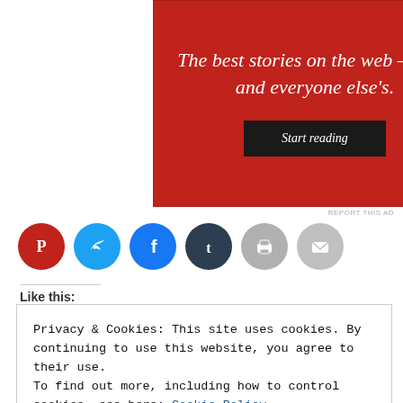[Figure (other): Red advertisement banner with text 'The best stories on the web – ours, and everyone else's.' and a black 'Start reading' button]
REPORT THIS AD
[Figure (other): Row of social sharing icon buttons: Pinterest (red), Twitter (blue), Facebook (blue), Tumblr (dark), Print (grey), Email (grey)]
Like this:
Privacy & Cookies: This site uses cookies. By continuing to use this website, you agree to their use.
To find out more, including how to control cookies, see here: Cookie Policy
Close and accept